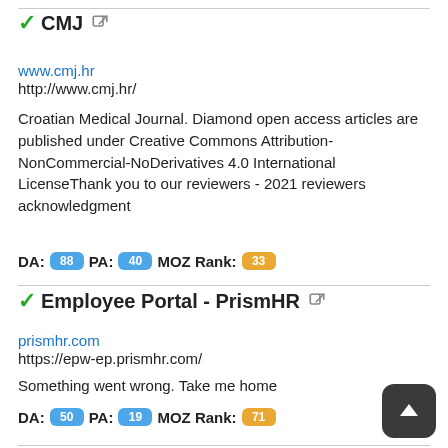✓CMJ ↗
www.cmj.hr
http://www.cmj.hr/
Croatian Medical Journal. Diamond open access articles are published under Creative Commons Attribution-NonCommercial-NoDerivatives 4.0 International LicenseThank you to our reviewers - 2021 reviewers acknowledgment
DA: 88  PA: 40  MOZ Rank: 33
✓Employee Portal - PrismHR ↗
prismhr.com
https://epw-ep.prismhr.com/
Something went wrong. Take me home
DA: 50  PA: 19  MOZ Rank: 71
✓US unicorn Deel wants to 'revolutionise' HR function in